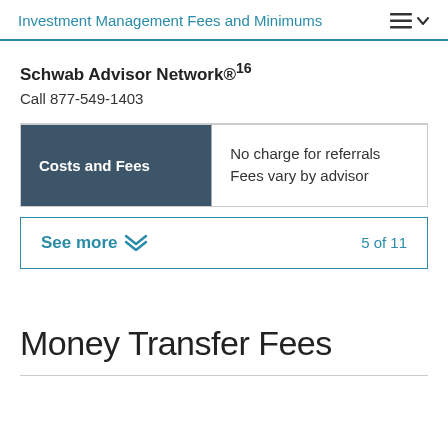Investment Management Fees and Minimums
Schwab Advisor Network®¹⁶ Call 877-549-1403
| Costs and Fees |  |
| --- | --- |
| Costs and Fees | No charge for referrals
Fees vary by advisor |
See more  5 of 11
Money Transfer Fees